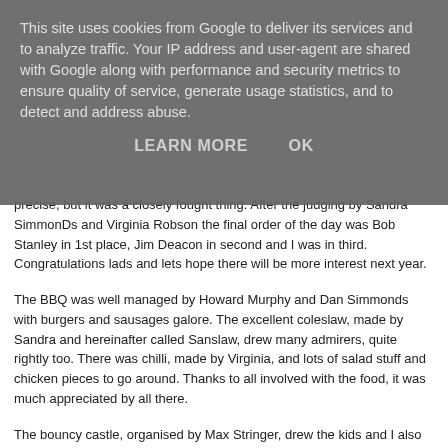This site uses cookies from Google to deliver its services and to analyze traffic. Your IP address and user-agent are shared with Google along with performance and security metrics to ensure quality of service, generate usage statistics, and to detect and address abuse.
LEARN MORE   OK
precise, but it was a closely fought thing. After the judging by Sandra SimmonDs and Virginia Robson the final order of the day was Bob Stanley in 1st place, Jim Deacon in second and I was in third. Congratulations lads and lets hope there will be more interest next year.
The BBQ was well managed by Howard Murphy and Dan Simmonds with burgers and sausages galore. The excellent coleslaw, made by Sandra and hereinafter called Sanslaw, drew many admirers, quite rightly too. There was chilli, made by Virginia, and lots of salad stuff and chicken pieces to go around. Thanks to all involved with the food, it was much appreciated by all there.
The bouncy castle, organised by Max Stringer, drew the kids and I also saw some of the adults playing on it as well. You know who you are!